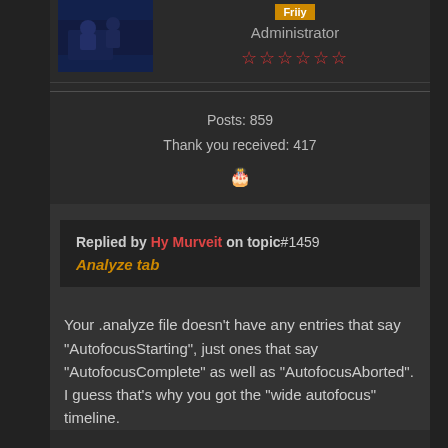[Figure (photo): User avatar photo showing people in a dark scene]
Administrator
★★★★★★ (six empty stars)
Posts: 859
Thank you received: 417
🎂 (birthday icon)
Replied by Hy Murveit on topic #1459 Analyze tab
Your .analyze file doesn't have any entries that say "AutofocusStarting", just ones that say "AutofocusComplete" as well as "AutofocusAborted".
I guess that's why you got the "wide autofocus" timeline.